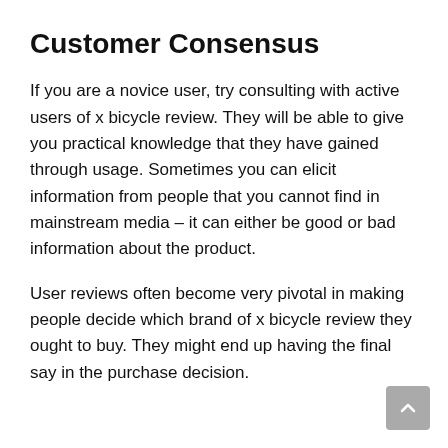Customer Consensus
If you are a novice user, try consulting with active users of x bicycle review. They will be able to give you practical knowledge that they have gained through usage. Sometimes you can elicit information from people that you cannot find in mainstream media – it can either be good or bad information about the product.
User reviews often become very pivotal in making people decide which brand of x bicycle review they ought to buy. They might end up having the final say in the purchase decision.